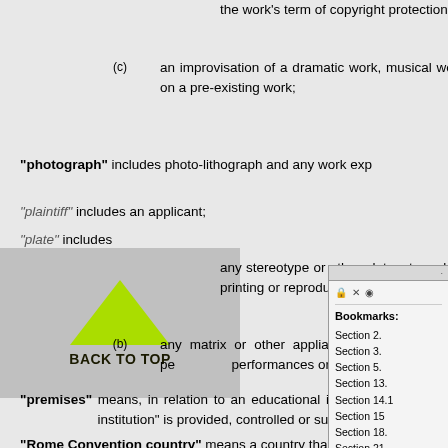the work's term of copyright protection under this Act has expired, or
(c) an improvisation of a dramatic work, musical work or literary work, whether or not the improvised work is based on a pre-existing work;
"photograph" includes photo-lithograph and any work expressed by any process analogous to photography;
"plaintiff" includes an applicant;
"plate" includes
[Figure (illustration): Back to Top button with green upward-pointing triangle arrow and bold text 'BACK TO TOP' on grey background]
(a) any stereotype or other plate, stone, block, mould, matrix, transfer or negative used or intended to be used for printing or reproducing copies of any work, and
(b) any matrix or other appliance used or intended to be used for making or reproducing sound recordings, performances or communication signals;
"premises" means, in relation to an educational institution, any premises where the education or training referred to in the definition of "educational institution" is provided, controlled or supervised by the educational institution;
"Rome Convention country" means a country that is a party to the International Convention for the Protection of